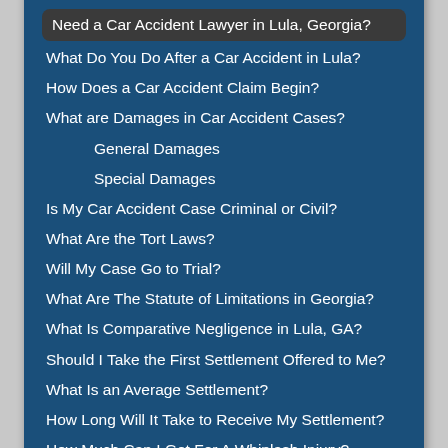Table of contents
Need a Car Accident Lawyer in Lula, Georgia?
What Do You Do After a Car Accident in Lula?
How Does a Car Accident Claim Begin?
What are Damages in Car Accident Cases?
General Damages
Special Damages
Is My Car Accident Case Criminal or Civil?
What Are the Tort Laws?
Will My Case Go to Trial?
What Are The Statute of Limitations in Georgia?
What Is Comparative Negligence in Lula, GA?
Should I Take the First Settlement Offered to Me?
What Is an Average Settlement?
How Long Will It Take to Receive My Settlement?
How Much Can I Get For A Whiplash Injury?